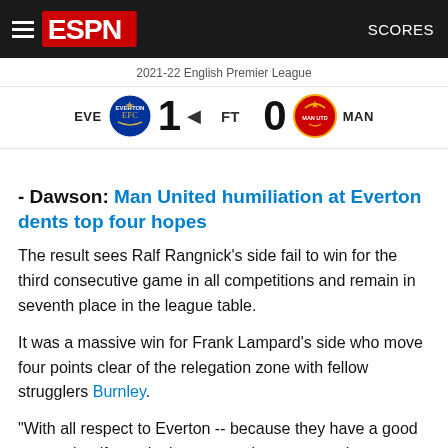ESPN - 2021-22 English Premier League - SCORES
[Figure (infographic): Score display: EVE (Everton) 1 vs MAN (Manchester United) 0, Full Time (FT), with team logos]
- Dawson: Man United humiliation at Everton dents top four hopes
The result sees Ralf Rangnick's side fail to win for the third consecutive game in all competitions and remain in seventh place in the league table.
It was a massive win for Frank Lampard's side who move four points clear of the relegation zone with fellow strugglers Burnley.
"With all respect to Everton -- because they have a good team -- but if you don't score against a team who conceded three